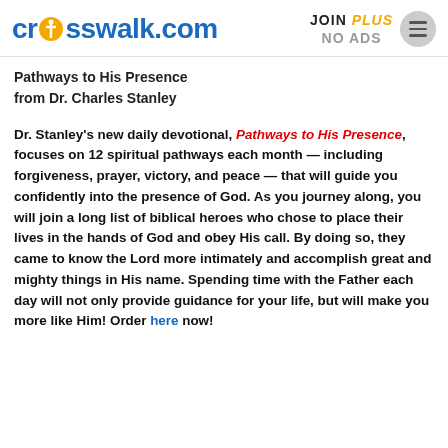crosswalk.com | JOIN PLUS NO ADS
Pathways to His Presence
from Dr. Charles Stanley
Dr. Stanley's new daily devotional, Pathways to His Presence, focuses on 12 spiritual pathways each month — including forgiveness, prayer, victory, and peace — that will guide you confidently into the presence of God. As you journey along, you will join a long list of biblical heroes who chose to place their lives in the hands of God and obey His call. By doing so, they came to know the Lord more intimately and accomplish great and mighty things in His name. Spending time with the Father each day will not only provide guidance for your life, but will make you more like Him! Order here now!